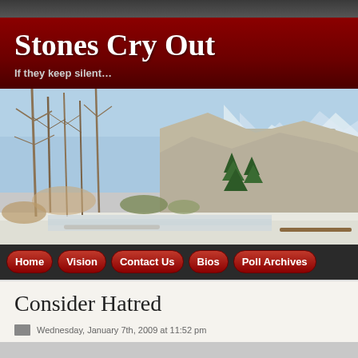Stones Cry Out
If they keep silent…
[Figure (photo): Winter mountain landscape with bare trees in foreground, snow on ground, tall rocky cliffs and snow-capped mountains in background, evergreen trees in middle distance, blue sky]
Home   Vision   Contact Us   Bios   Poll Archives
Consider Hatred
Wednesday, January 7th, 2009 at 11:52 pm